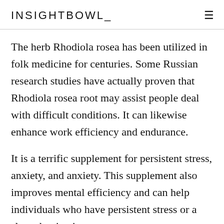INSIGHTBOWL
The herb Rhodiola rosea has been utilized in folk medicine for centuries. Some Russian research studies have actually proven that Rhodiola rosea root may assist people deal with difficult conditions. It can likewise enhance work efficiency and endurance.
It is a terrific supplement for persistent stress, anxiety, and anxiety. This supplement also improves mental efficiency and can help individuals who have persistent stress or a sleep deprivation.